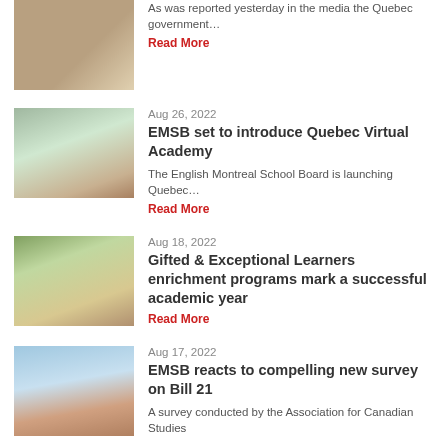[Figure (photo): Person with curved background, partial view]
As was reported yesterday in the media the Quebec government…
Read More
[Figure (photo): Young girl sitting at a computer in a classroom]
Aug 26, 2022
EMSB set to introduce Quebec Virtual Academy
The English Montreal School Board is launching Quebec…
Read More
[Figure (photo): Group of children and adults wearing masks in a classroom]
Aug 18, 2022
Gifted & Exceptional Learners enrichment programs mark a successful academic year
Read More
[Figure (photo): School building exterior with columns and brick facade]
Aug 17, 2022
EMSB reacts to compelling new survey on Bill 21
A survey conducted by the Association for Canadian Studies